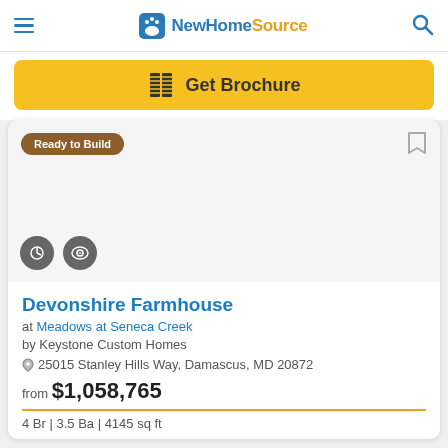NewHomeSource
[Figure (screenshot): Get Brochure button with brochure icon on yellow background]
Ready to Build
Devonshire Farmhouse
at Meadows at Seneca Creek
by Keystone Custom Homes
25015 Stanley Hills Way, Damascus, MD 20872
from $1,058,765
4 Br | 3.5 Ba | 4145 sq ft